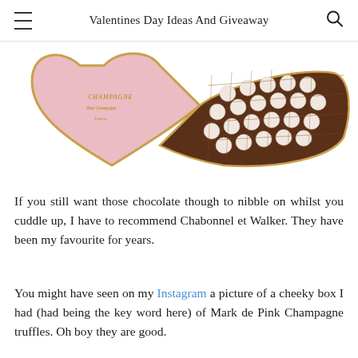Valentines Day Ideas And Giveaway
[Figure (photo): Heart-shaped box of champagne truffles — left half is pink lid, right half open showing rows of white chocolate truffles in a gold grid tray, on a white background.]
If you still want those chocolate though to nibble on whilst you cuddle up, I have to recommend Chabonnel et Walker. They have been my favourite for years.
You might have seen on my Instagram a picture of a cheeky box I had (had being the key word here) of Mark de Pink Champagne truffles. Oh boy they are good.